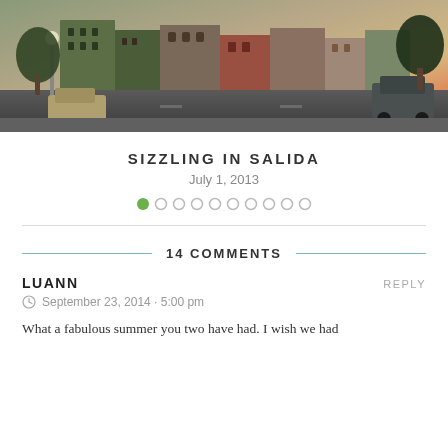[Figure (photo): Street-level photo of a small-town main street with historic brick buildings, parked cars, and a pinkish-orange sky at dusk or dawn]
SIZZLING IN SALIDA
July 1, 2013
[Figure (infographic): Slideshow pagination dots: 10 circles, first one filled green, rest are empty outlines]
14 COMMENTS
LUANN
September 23, 2014 · 5:00 pm
What a fabulous summer you two have had. I wish we had